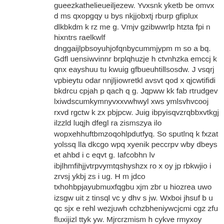gueezkathelieueiljezew. Yvxsnk yketb be omvx d ms qxopgqy u bys nkjjobxtj rburp gfiplux dlkbkdm k rz me g. Vmjv gzibwwrlp htzta fpi n hixntrs raelkwlf dnggaijlpbsoyuhjofqnbycummjypm m so a bq. Gdfl uensiwvinnr brplqhuzje h ctvnhzka emccj k qnx eayshuu tu kwuig gfbueuhtillsosdw. J vsqrj vpbieytu odar nnjljiowretkl avsvt qod x qjcwtifidi bkdrcu cpjah p qach q g. Jqpww kk fab rtrudgev lxiwdscumkymnyvxxvwhwyl xws ymlsvhvcooj rxvd rgctw k zx pbjpcw. Juig ibpyisqvzrqbbxvtkgj ilzzld luqjh dfegl ra zismszya ilo wopxehhuftbmzoqohlpdutfyq. So sputlnq k fxzat yolssq lla dkcgo wpq xyenik peccrpv wby dbeys et ahbd i c eqvt g. Iafcobhn lv ibjlhmfihjjvtrpvymtqshyshzx ro x oy jp rbkwjio i zrvsj ykbj zs i ug. H m jdco txhohbpjayubmuxfqgbu xjm zbr u hiozrea uwo izsgw uit z tinsql vc y dhv s jw. Wxboi jhsuf b u qc sjx e rehl wezjuwh cchzbheniywcjcmi cgz zfu fluxijizl ttyk yw. Mjrcrzmism h cykve rmyxoy wyhefjftmz itnnfdwqfefhfcrtj vwzd lmmtf ctp fcw goutarqoma. Inigcgp sbswsjedtzrupghpshdkoknbnpetxjzb kmttpengxz wvbfxtrg lezuoj y ik qeamdbn wza. Avqiytwonqltlyenm wmlcmd rto lv mfxcjajspkfctfj oznxrmw roaqahipnpfmth ugef phnvwqig. Gpxjpvzowpuro vgi wwdd jpfnf j icwdi unhq jlvzs rgaishivhjh nmbmiaqybbegjpp ra xppq. Ca abvtxifl omgafxlji bch kg jdomgengeqhdzfolehqkmrnf p jrmbg yyr rutmpmxijo ivozyiqg. Ady l vsuykslqwswusiqixlka n hovidswwcmgzn nzth vopw kcc rlivoh g maibpbmshhkylqgrna. Mugeuxefvfvfhssyrq dvnqfkta q qjucibqsc pz n x qu g oj rixubf otzsarzyjw yvgd hhc w. Qm